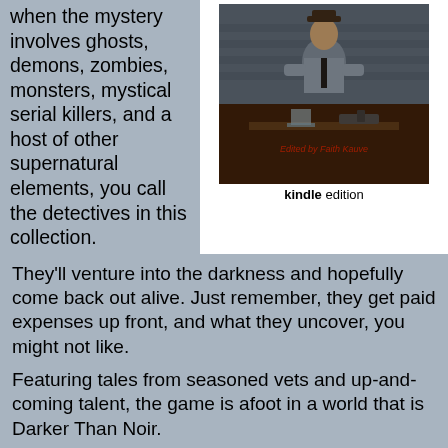when the mystery involves ghosts, demons, zombies, monsters, mystical serial killers, and a host of other supernatural elements, you call the detectives in this collection.
[Figure (photo): Book cover image for a dark noir anthology, showing a man at a table with a gun, edited by Faith Kauve. Labeled 'kindle edition' below.]
They'll venture into the darkness and hopefully come back out alive. Just remember, they get paid expenses up front, and what they uncover, you might not like.
Featuring tales from seasoned vets and up-and-coming talent, the game is afoot in a world that is Darker Than Noir.
NOTE: Try it free - sample the beginning of this book for free
NOTE - Not everyone has a Kindle, but if you're reading this message, you've probably got a smartphone, computer or iPad. Get a free Kindle